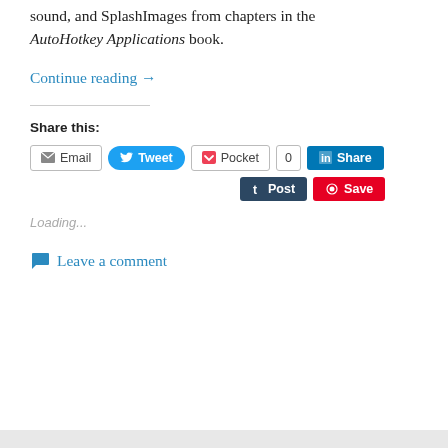sound, and SplashImages from chapters in the AutoHotkey Applications book.
Continue reading →
Share this:
[Figure (screenshot): Social sharing buttons: Email, Tweet, Pocket (0), LinkedIn Share, Tumblr Post, Pinterest Save]
Loading...
Leave a comment